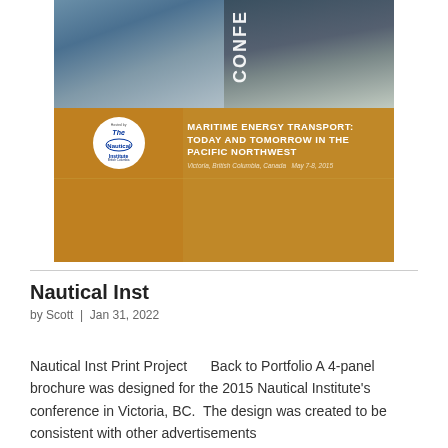[Figure (photo): Conference brochure cover for 'Maritime Energy Transport: Today and Tomorrow in the Pacific Northwest', showing ocean and ship photos at top, orange grid layout with Nautical Institute logo, conference title, subtitle, location (Victoria, British Columbia, Canada, May 7-8, 2015), and website www.nibcconference2015.com. Vertical text 'CONFE' on left side.]
Nautical Inst
by Scott | Jan 31, 2022
Nautical Inst Print Project     Back to Portfolio A 4-panel brochure was designed for the 2015 Nautical Institute's conference in Victoria, BC.  The design was created to be consistent with other advertisements